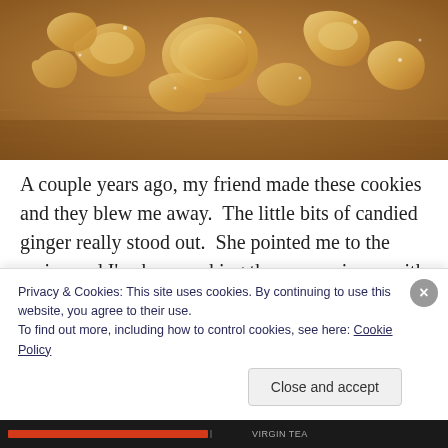[Figure (photo): Close-up photo of chunks of candied/crystallized ginger pieces on a wooden surface, warm golden-brown tones]
A couple years ago, my friend made these cookies and they blew me away.  The little bits of candied ginger really stood out.  She pointed me to the recipe and I've been making them ever since– with my own tweaks, of course.
Privacy & Cookies: This site uses cookies. By continuing to use this website, you agree to their use.
To find out more, including how to control cookies, see here: Cookie Policy
Close and accept